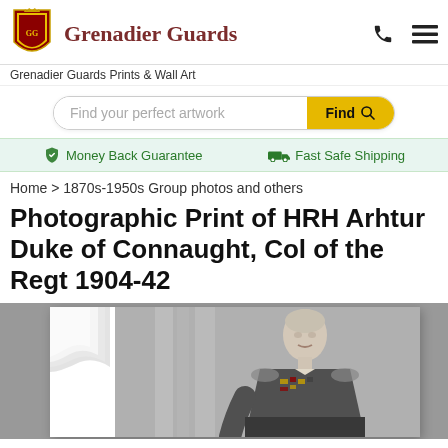Grenadier Guards
Grenadier Guards Prints & Wall Art
Find your perfect artwork
Money Back Guarantee   Fast Safe Shipping
Home > 1870s-1950s Group photos and others
Photographic Print of HRH Arhtur Duke of Connaught, Col of the Regt 1904-42
[Figure (photo): Black and white photographic portrait of HRH Arthur Duke of Connaught in military uniform with medals, shown from shoulders up, presented on a curled paper/print effect with white border.]